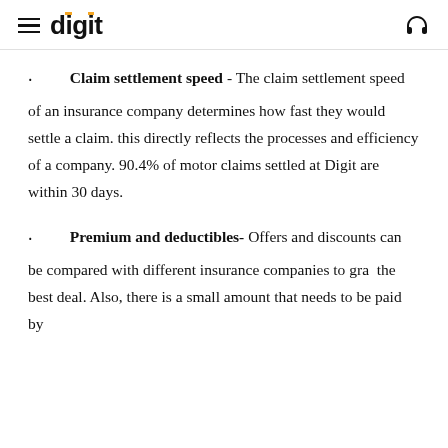digit
Claim settlement speed - The claim settlement speed of an insurance company determines how fast they would settle a claim. this directly reflects the processes and efficiency of a company. 90.4% of motor claims settled at Digit are within 30 days.
Premium and deductibles- Offers and discounts can be compared with different insurance companies to gra  the best deal. Also, there is a small amount that needs to be paid by